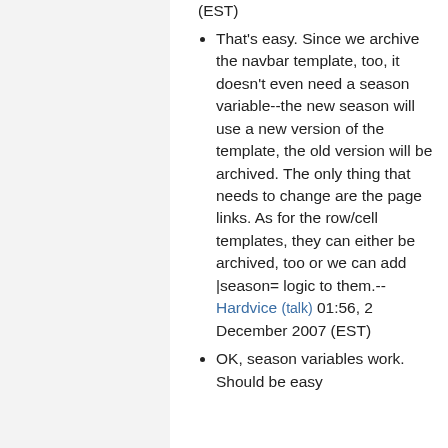(EST)
That's easy. Since we archive the navbar template, too, it doesn't even need a season variable--the new season will use a new version of the template, the old version will be archived. The only thing that needs to change are the page links. As for the row/cell templates, they can either be archived, too or we can add |season= logic to them.--Hardvice (talk) 01:56, 2 December 2007 (EST)
OK, season variables work. Should be easy